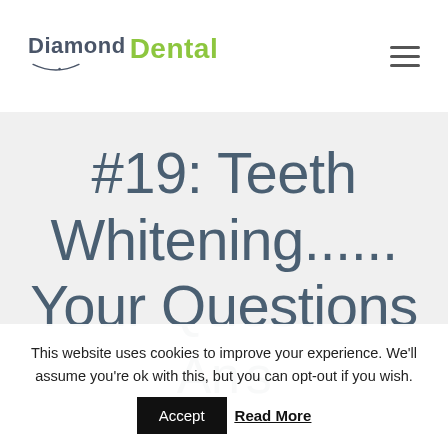[Figure (logo): Diamond Dental logo with stylized smile arc and green 'Dental' text]
#19: Teeth Whitening...... Your Questions A...
This website uses cookies to improve your experience. We'll assume you're ok with this, but you can opt-out if you wish.
Accept  Read More